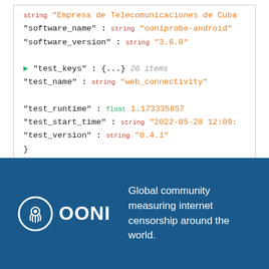[Figure (screenshot): JSON viewer panel showing fields: string 'Empresa de Telecomunicaciones de Cuba', software_name: string 'ooniprobe-android', software_version: string '3.6.0', test_keys: {...} 26 items, test_name: string 'web_connectivity', test_runtime: float 1.173335857, test_start_time: string '2022-05-28 12:09:', test_version: string '0.4.1', closing brace.]
[Figure (logo): OONI logo with octopus icon in white circle on dark blue background, text 'Global community measuring internet censorship around the world.']